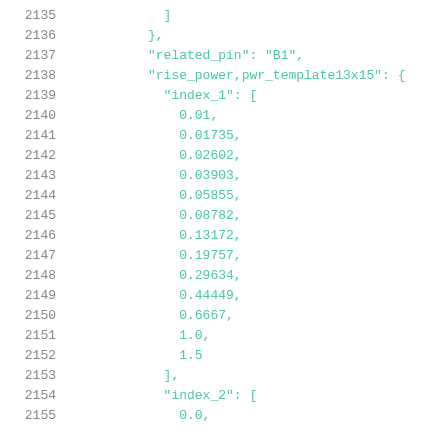2135    ]
2136    },
2137    "related_pin": "B1",
2138    "rise_power,pwr_template13x15": {
2139      "index_1": [
2140        0.01,
2141        0.01735,
2142        0.02602,
2143        0.03903,
2144        0.05855,
2145        0.08782,
2146        0.13172,
2147        0.19757,
2148        0.29634,
2149        0.44449,
2150        0.6667,
2151        1.0,
2152        1.5
2153      ],
2154      "index_2": [
2155        0.0,